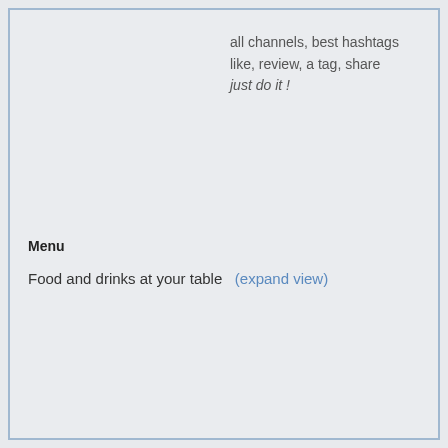all channels, best hashtags
like, review, a tag, share
just do it !
Menu
Food and drinks at your table  (expand view)